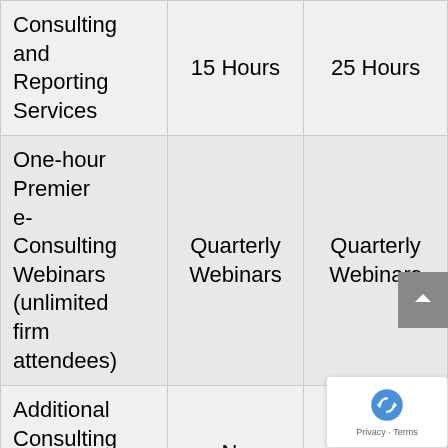| Service | Option A | Option B |
| --- | --- | --- |
| Consulting and Reporting Services | 15 Hours | 25 Hours |
| One-hour Premier e-Consulting Webinars (unlimited firm attendees) | Quarterly Webinars | Quarterly Webinars |
| Additional Consulting and Reporting Service | No Discount | 10% Discount |